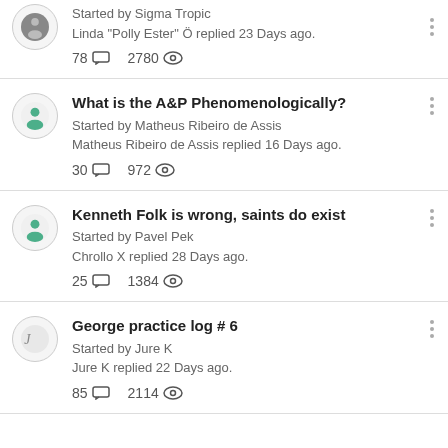Started by Sigma Tropic. Linda "Polly Ester" Ö replied 23 Days ago. 78 comments, 2780 views.
What is the A&P Phenomenologically? Started by Matheus Ribeiro de Assis. Matheus Ribeiro de Assis replied 16 Days ago. 30 comments, 972 views.
Kenneth Folk is wrong, saints do exist. Started by Pavel Pek. Chrollo X replied 28 Days ago. 25 comments, 1384 views.
George practice log # 6. Started by Jure K. Jure K replied 22 Days ago. 85 comments, 2114 views.